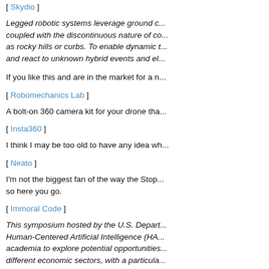[ Skydio ]
Legged robotic systems leverage ground c... coupled with the discontinuous nature of co... as rocky hills or curbs. To enable dynamic t... and react to unknown hybrid events and el...
If you like this and are in the market for a n...
[ Robomechanics Lab ]
A bolt-on 360 camera kit for your drone tha...
[ Insta360 ]
I think I may be too old to have any idea wh...
[ Neato ]
I'm not the biggest fan of the way the Stop... so here you go.
[ Immoral Code ]
This symposium hosted by the U.S. Depart... Human-Centered Artificial Intelligence (HA... academia to explore potential opportunities... different economic sectors, with a particula...